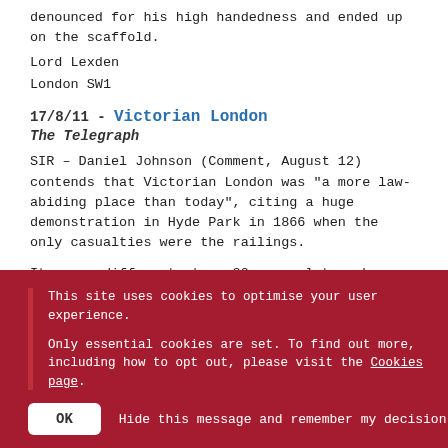denounced for his high handedness and ended up on the scaffold.
Lord Lexden
London SW1
17/8/11 - Victorian London
The Telegraph
SIR – Daniel Johnson (Comment, August 12) contends that Victorian London was "a more law-abiding place than today", citing a huge demonstration in Hyde Park in 1866 when the only casualties were the railings.
It was a different story 20 years later when another mob
This site uses cookies to optimise your user experience.

Only essential cookies are set. To find out more, including how to opt out, please visit the Cookies page.
OK   Hide this message and remember my decision